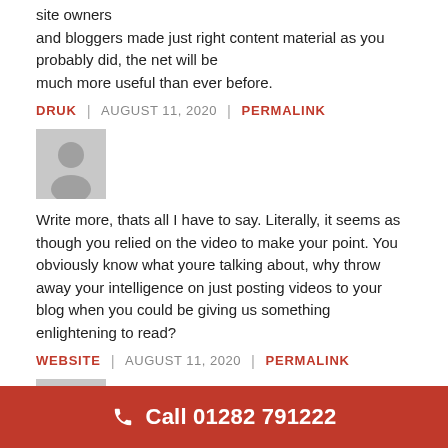site owners
and bloggers made just right content material as you probably did, the net will be
much more useful than ever before.
DRUK | AUGUST 11, 2020 | PERMALINK
[Figure (illustration): Generic user avatar icon (gray silhouette of a person on gray background)]
Write more, thats all I have to say. Literally, it seems as though you relied on the video to make your point. You obviously know what youre talking about, why throw away your intelligence on just posting videos to your blog when you could be giving us something enlightening to read?
WEBSITE | AUGUST 11, 2020 | PERMALINK
[Figure (illustration): Generic user avatar icon (gray silhouette of a person on gray background)]
You should take part in a contest for one of the greatest blogs on the
Call 01282 791222